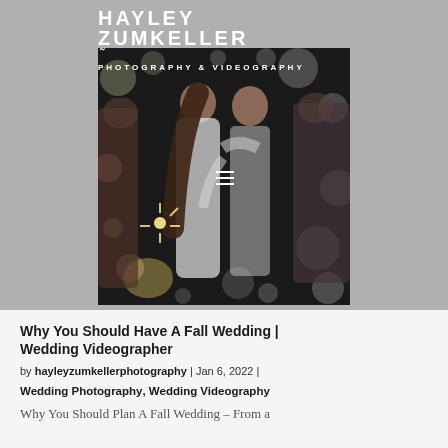HAYLEY ZUMKELLER
PHOTOGRAPHY & VIDEOGRAPHY
[Figure (photo): Wedding couple dancing together surrounded by guests holding sparklers in a dimly lit venue. The bride wears a long-sleeved lace gown while the groom is in a white shirt.]
Why You Should Have A Fall Wedding | Wedding Videographer
by hayleyzumkellerphotography | Jan 6, 2022 |
Wedding Photography, Wedding Videography
Why You Should Plan A Fall Wedding – From a